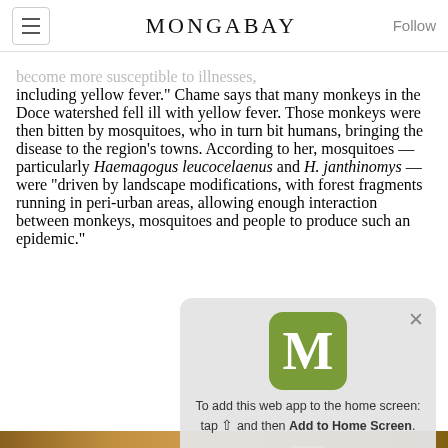MONGABAY
become more susceptible to illnesses, including yellow fever." Chame says that many monkeys in the Doce watershed fell ill with yellow fever. Those monkeys were then bitten by mosquitoes, who in turn bit humans, bringing the disease to the region's towns. According to her, mosquitoes — particularly Haemagogus leucocelaenus and H. janthinomys — were "driven by landscape modifications, with forest fragments running in peri-urban areas, allowing enough interaction between monkeys, mosquitoes and people to produce such an epidemic."
[Figure (screenshot): Mobile popup overlay showing Medium 'M' logo in green with text: 'To add this web app to the home screen: tap and then Add to Home Screen.' with a dismiss X button and downward arrow.]